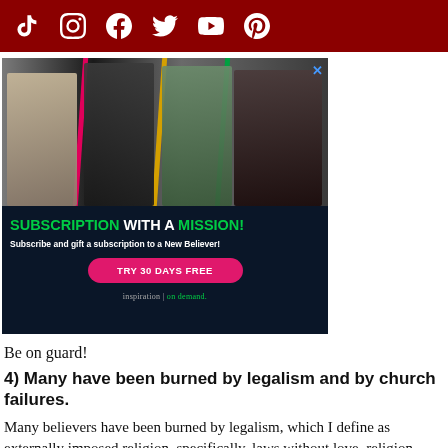Social media icons: TikTok, Instagram, Facebook, Twitter, YouTube, Pinterest
[Figure (infographic): Advertisement for 'Inspiration on Demand' subscription service. Shows four religious speakers/pastors. Text reads: 'SUBSCRIPTION WITH A MISSION! Subscribe and gift a subscription to a New Believer! TRY 30 DAYS FREE. inspiration | on demand.']
Be on guard!
4) Many have been burned by legalism and by church failures.
Many believers have been burned by legalism, which I define as externally imposed religion, specifically, laws without love, religion without relationship, and standards